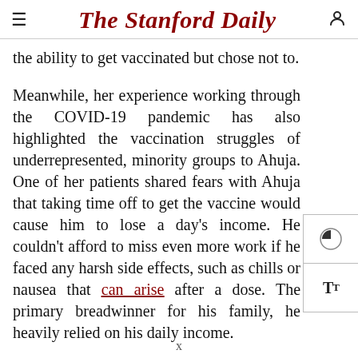The Stanford Daily
the ability to get vaccinated but chose not to.
Meanwhile, her experience working through the COVID-19 pandemic has also highlighted the vaccination struggles of underrepresented, minority groups to Ahuja. One of her patients shared fears with Ahuja that taking time off to get the vaccine would cause him to lose a day's income. He couldn't afford to miss even more work if he faced any harsh side effects, such as chills or nausea that can arise after a dose. The primary breadwinner for his family, he heavily relied on his daily income.